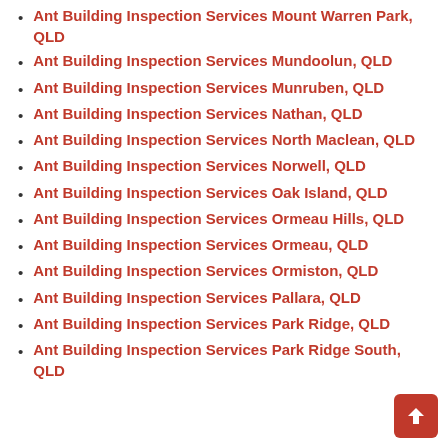Ant Building Inspection Services Mount Warren Park, QLD
Ant Building Inspection Services Mundoolun, QLD
Ant Building Inspection Services Munruben, QLD
Ant Building Inspection Services Nathan, QLD
Ant Building Inspection Services North Maclean, QLD
Ant Building Inspection Services Norwell, QLD
Ant Building Inspection Services Oak Island, QLD
Ant Building Inspection Services Ormeau Hills, QLD
Ant Building Inspection Services Ormeau, QLD
Ant Building Inspection Services Ormiston, QLD
Ant Building Inspection Services Pallara, QLD
Ant Building Inspection Services Park Ridge, QLD
Ant Building Inspection Services Park Ridge South, QLD